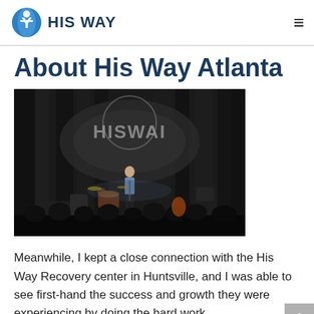HIS WAY
About His Way Atlanta
[Figure (photo): A speaker stands on a dark stage in front of a crowd of audience members. Behind the speaker is a large projected 'HIS WAY' logo with the organization's symbol. Stage equipment including drum kit and speakers are visible.]
Meanwhile, I kept a close connection with the His Way Recovery center in Huntsville, and I was able to see first-hand the success and growth they were experiencing by doing the hard work